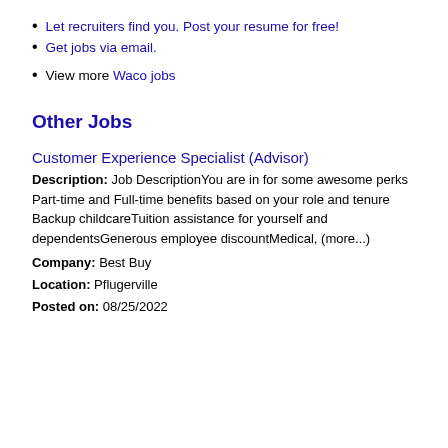Let recruiters find you. Post your resume for free!
Get jobs via email.
View more Waco jobs
Other Jobs
Customer Experience Specialist (Advisor)
Description: Job DescriptionYou are in for some awesome perks Part-time and Full-time benefits based on your role and tenure Backup childcareTuition assistance for yourself and dependentsGenerous employee discountMedical, (more...)
Company: Best Buy
Location: Pflugerville
Posted on: 08/25/2022